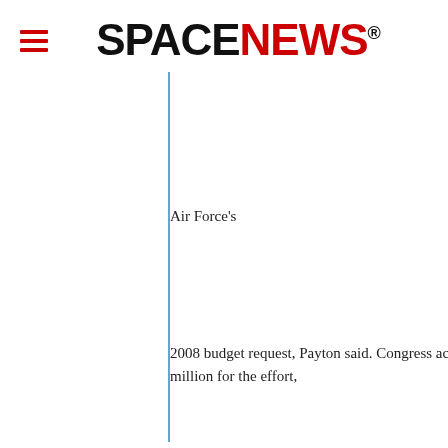SPACENEWS
Air Force's
2008 budget request, Payton said. Congress ac million for the effort,